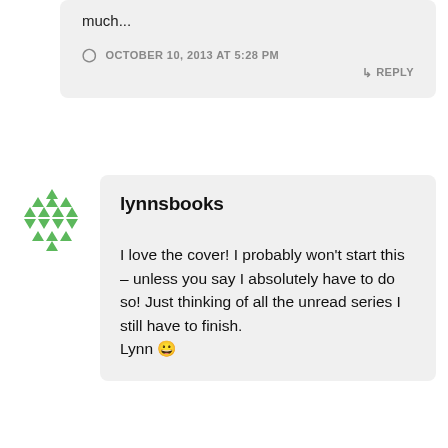much...
OCTOBER 10, 2013 AT 5:28 PM
↳ REPLY
[Figure (illustration): Green snowflake/star avatar icon made of small green triangles]
lynnsbooks
I love the cover! I probably won't start this – unless you say I absolutely have to do so! Just thinking of all the unread series I still have to finish.
Lynn 😀